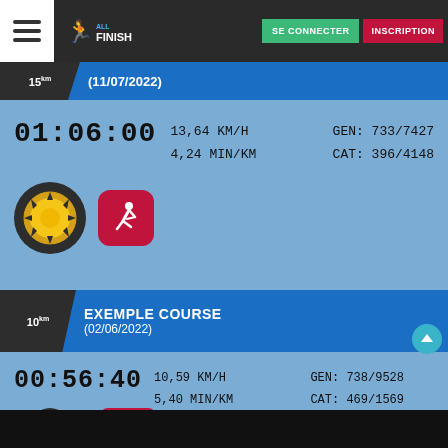SE CONNECTER   INSCRIPTION — AllFinisher navigation bar
15km (11/07/2022)
01:06:00   13,64 KM/H   GEN: 733/7427
              4,24 MIN/KM   CAT: 396/4148
[Figure (screenshot): Sun medal icon (dark circle with yellow sun/gear) and a red rounded-square running app icon with white runner silhouette]
EXEMPLE COURSE (02/06/2022) — 10km
00:56:40   10,59 KM/H   GEN: 738/9528
              5,40 MIN/KM   CAT: 469/1569